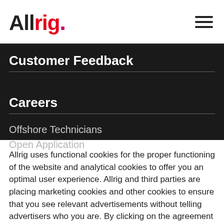Allrig. ≡
Customer Feedback
Careers
Offshore Technicians
Open Application
Allrig uses functional cookies for the proper functioning of the website and analytical cookies to offer you an optimal user experience. Allrig and third parties are placing marketing cookies and other cookies to ensure that you see relevant advertisements without telling advertisers who you are. By clicking on the agreement below, you consent to the placing of these cookies. Click
Advanced settings
Agree